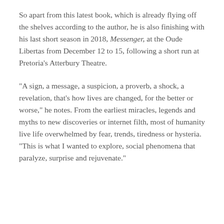So apart from this latest book, which is already flying off the shelves according to the author, he is also finishing with his last short season in 2018, Messenger, at the Oude Libertas from December 12 to 15, following a short run at Pretoria's Atterbury Theatre.
"A sign, a message, a suspicion, a proverb, a shock, a revelation, that's how lives are changed, for the better or worse," he notes. From the earliest miracles, legends and myths to new discoveries or internet filth, most of humanity live life overwhelmed by fear, trends, tiredness or hysteria. "This is what I wanted to explore, social phenomena that paralyze, surprise and rejuvenate."